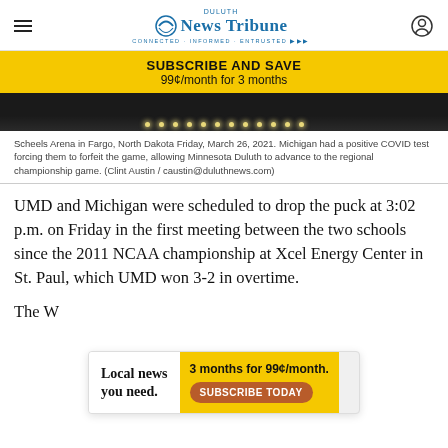Duluth News Tribune
SUBSCRIBE AND SAVE
99¢/month for 3 months
[Figure (photo): Dark interior of Scheels Arena showing ceiling lights]
Scheels Arena in Fargo, North Dakota Friday, March 26, 2021. Michigan had a positive COVID test forcing them to forfeit the game, allowing Minnesota Duluth to advance to the regional championship game. (Clint Austin / caustin@duluthnews.com)
UMD and Michigan were scheduled to drop the puck at 3:02 p.m. on Friday in the first meeting between the two schools since the 2011 NCAA championship at Xcel Energy Center in St. Paul, which UMD won 3-2 in overtime.
The W... tournament appearance since reaching the Frozen
[Figure (infographic): Advertisement: Local news you need. 3 months for 99¢/month. SUBSCRIBE TODAY]